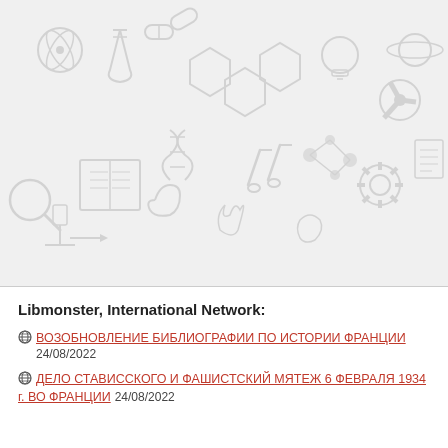[Figure (illustration): Decorative science/education background with light grey icons of laboratory equipment, books, molecules, atoms, magnifying glass, test tubes, hexagons, and other educational/science symbols on a light grey background.]
Libmonster, International Network:
ВОЗОБНОВЛЕНИЕ БИБЛИОГРАФИИ ПО ИСТОРИИ ФРАНЦИИ
24/08/2022
ДЕЛО СТАВИССКОГО И ФАШИСТСКИЙ МЯТЕЖ 6 ФЕВРАЛЯ 1934 г. ВО ФРАНЦИИ 24/08/2022